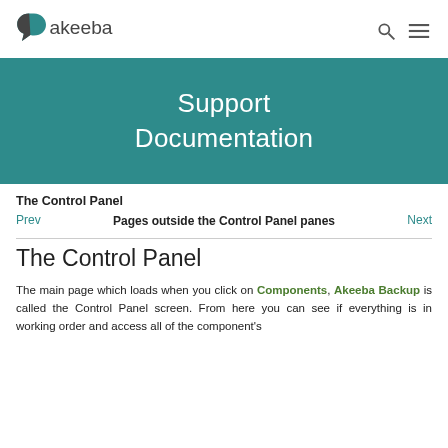Akeeba logo, search icon, menu icon
[Figure (logo): Akeeba logo with stylized speech bubble and text 'akeeba']
Support Documentation
The Control Panel
Prev   Pages outside the Control Panel panes   Next
The Control Panel
The main page which loads when you click on Components, Akeeba Backup is called the Control Panel screen. From here you can see if everything is in working order and access all of the component's